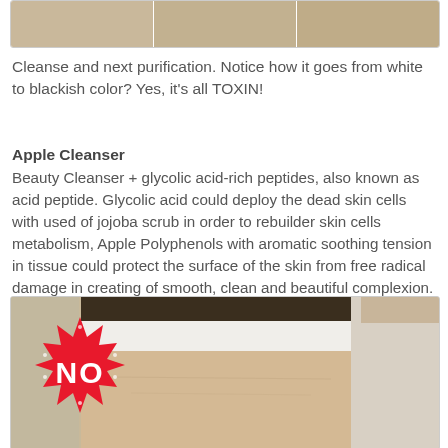[Figure (photo): Three side-by-side face/neck close-up photos in a bordered box showing skin before/after treatment]
Cleanse and next purification. Notice how it goes from white to blackish color? Yes, it's all TOXIN!
Apple Cleanser
Beauty Cleanser + glycolic acid-rich peptides, also known as acid peptide. Glycolic acid could deploy the dead skin cells with used of jojoba scrub in order to rebuilder skin cells metabolism, Apple Polyphenols with aromatic soothing tension in tissue could protect the surface of the skin from free radical damage in creating of smooth, clean and beautiful complexion.
[Figure (photo): Close-up photo of a person's forehead with a white headband, overlaid with a red spiky 'NO' badge on the left side]